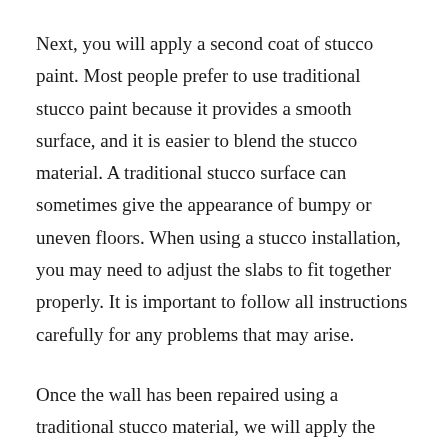Next, you will apply a second coat of stucco paint. Most people prefer to use traditional stucco paint because it provides a smooth surface, and it is easier to blend the stucco material. A traditional stucco surface can sometimes give the appearance of bumpy or uneven floors. When using a stucco installation, you may need to adjust the slabs to fit together properly. It is important to follow all instructions carefully for any problems that may arise.
Once the wall has been repaired using a traditional stucco material, we will apply the second coat of siding color coat. A layer of polyurethane will be applied to help protect the finish from moisture. This layer also